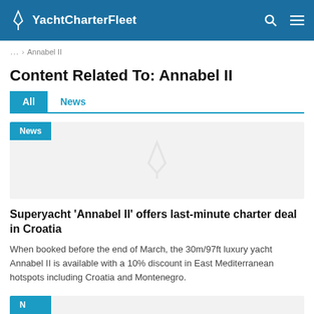YachtCharterFleet
… > Annabel II
Content Related To: Annabel II
All  News
[Figure (other): News card with YachtCharterFleet watermark logo on grey background, with a cyan 'News' badge in top-left corner.]
Superyacht 'Annabel II' offers last-minute charter deal in Croatia
When booked before the end of March, the 30m/97ft luxury yacht Annabel II is available with a 10% discount in East Mediterranean hotspots including Croatia and Montenegro.
[Figure (other): Partially visible second news card with cyan 'News' badge, bottom of page.]